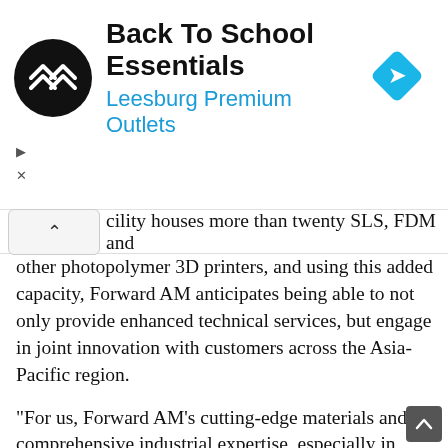[Figure (screenshot): Advertisement banner for Back To School Essentials at Leesburg Premium Outlets. Shows a circular black logo with double arrow, the text title in bold, subtitle in blue, and a blue navigation diamond icon on the right. Playback and close controls on the left.]
cility houses more than twenty SLS, FDM and other photopolymer 3D printers, and using this added capacity, Forward AM anticipates being able to not only provide enhanced technical services, but engage in joint innovation with customers across the Asia-Pacific region.
“For us, Forward AM’s cutting-edge materials and comprehensive industrial expertise, especially in simulation and surface finishing, ideally complement our expertise in services and design offerings,” said Leirah Wang, MD of Xuberance. “We are proud to jointly develop integrated and innovative solutions for additive manufacturing, tailored to customer needs in